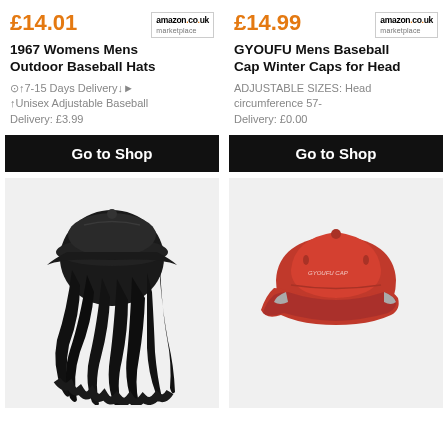£14.01
[Figure (logo): Amazon.co.uk marketplace logo]
1967 Womens Mens Outdoor Baseball Hats
⊙↑7-15 Days Delivery↓► ↑Unisex Adjustable Baseball
Delivery: £3.99
£14.99
[Figure (logo): Amazon.co.uk marketplace logo]
GYOUFU Mens Baseball Cap Winter Caps for Head
ADJUSTABLE SIZES: Head circumference 57-
Delivery: £0.00
Go to Shop
Go to Shop
[Figure (photo): Black baseball cap with long black wavy hair/wig attached]
[Figure (photo): Red baseball cap with embroidered text on a light grey background]